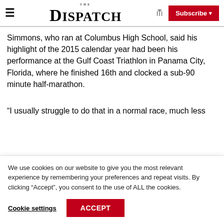The Dispatch — Subscribe
Simmons, who ran at Columbus High School, said his highlight of the 2015 calendar year had been his performance at the Gulf Coast Triathlon in Panama City, Florida, where he finished 16th and clocked a sub-90 minute half-marathon.
“I usually struggle to do that in a normal race, much less
We use cookies on our website to give you the most relevant experience by remembering your preferences and repeat visits. By clicking “Accept”, you consent to the use of ALL the cookies.
Cookie settings | ACCEPT